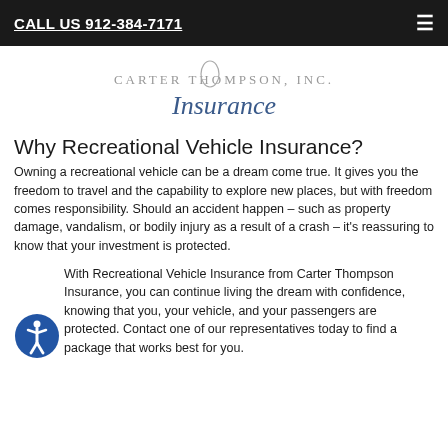CALL US 912-384-7171
[Figure (logo): Carter Thompson, Inc. Insurance logo with stylized script lettering]
Why Recreational Vehicle Insurance?
Owning a recreational vehicle can be a dream come true. It gives you the freedom to travel and the capability to explore new places, but with freedom comes responsibility. Should an accident happen – such as property damage, vandalism, or bodily injury as a result of a crash – it's reassuring to know that your investment is protected.
With Recreational Vehicle Insurance from Carter Thompson Insurance, you can continue living the dream with confidence, knowing that you, your vehicle, and your passengers are protected. Contact one of our representatives today to find a package that works best for you.